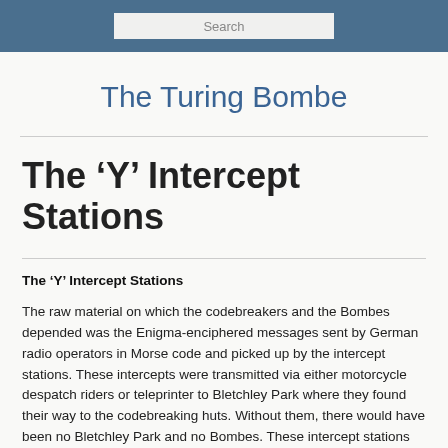Search
The Turing Bombe
The ‘Y’ Intercept Stations
The ‘Y’ Intercept Stations
The raw material on which the codebreakers and the Bombes depended was the Enigma-enciphered messages sent by German radio operators in Morse code and picked up by the intercept stations. These intercepts were transmitted via either motorcycle despatch riders or teleprinter to Bletchley Park where they found their way to the codebreaking huts. Without them, there would have been no Bletchley Park and no Bombes. These intercept stations listened in to the whole range of German traffic